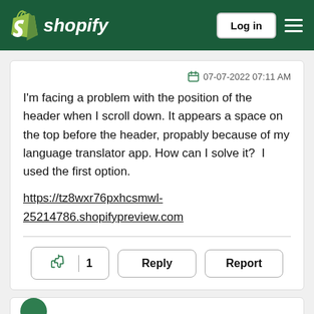shopify — Log in — menu
07-07-2022 07:11 AM
I'm facing a problem with the position of the header when I scroll down. It appears a space on the top before the header, propably because of my language translator app. How can I solve it?  I used the first option.
https://tz8wxr76pxhcsmwl-25214786.shopifypreview.com
👍 1   Reply   Report